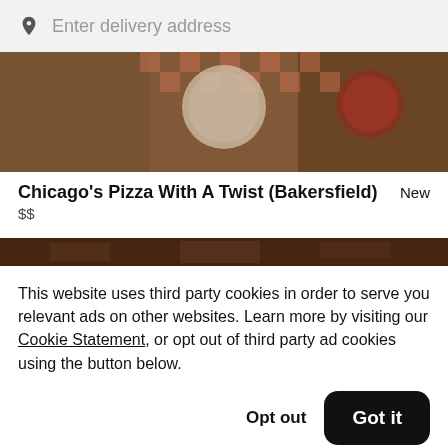Enter delivery address
[Figure (photo): Top-down food photo showing pizza and dishes on a checkered tablecloth]
Chicago's Pizza With A Twist (Bakersfield)
$$
[Figure (photo): Partial food photo strip at bottom of restaurant card]
This website uses third party cookies in order to serve you relevant ads on other websites. Learn more by visiting our Cookie Statement, or opt out of third party ad cookies using the button below.
Opt out
Got it